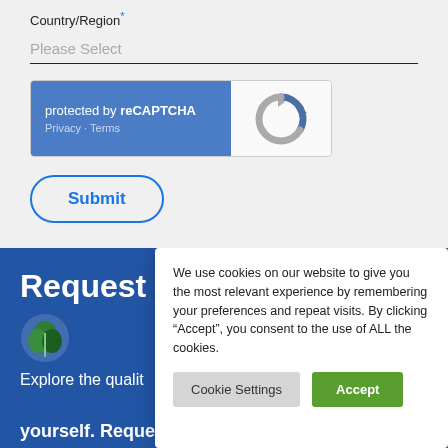Country/Region*
Please Select
[Figure (other): reCAPTCHA widget: blue left panel with text 'protected by reCAPTCHA' and 'Privacy - Terms', right panel with reCAPTCHA logo arrows]
Submit
Request
Explore the qualit
yourself. Request a material sample today.
We use cookies on our website to give you the most relevant experience by remembering your preferences and repeat visits. By clicking “Accept”, you consent to the use of ALL the cookies.
Cookie Settings
Accept